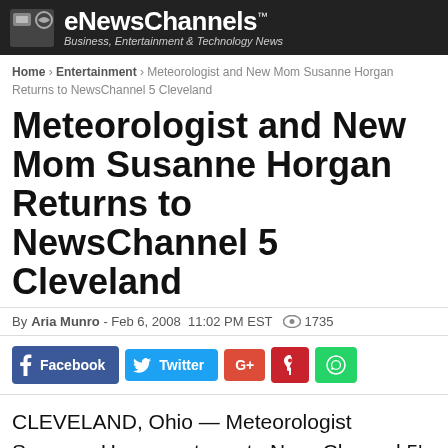eNewsChannels™ Business, Entertainment & Technology News
Home › Entertainment › Meteorologist and New Mom Susanne Horgan Returns to NewsChannel 5 Cleveland
Meteorologist and New Mom Susanne Horgan Returns to NewsChannel 5 Cleveland
By Aria Munro - Feb 6, 2008  11:02 PM EST  👁 1735
[Figure (infographic): Social sharing buttons: Facebook, Twitter, Google+, Pinterest, WhatsApp]
CLEVELAND, Ohio — Meteorologist Susanne Horgan returns to NewsChannel 5's Good Morning Cleveland on Wednesday, February